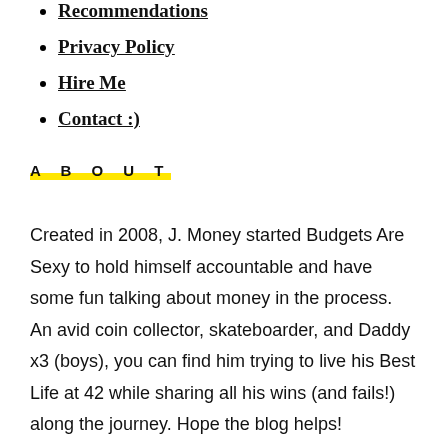Recommendations
Privacy Policy
Hire Me
Contact :)
A B O U T
Created in 2008, J. Money started Budgets Are Sexy to hold himself accountable and have some fun talking about money in the process. An avid coin collector, skateboarder, and Daddy x3 (boys), you can find him trying to live his Best Life at 42 while sharing all his wins (and fails!) along the journey. Hope the blog helps!
[Full Bio]